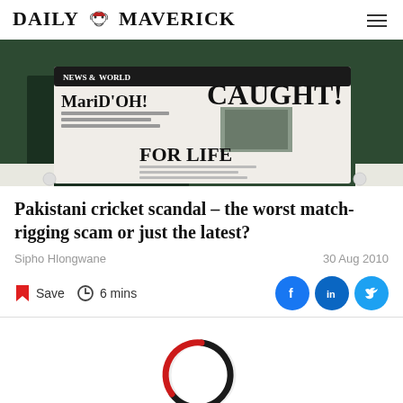DAILY MAVERICK
[Figure (photo): Person holding a newspaper with headlines 'MariD'OH!', 'CAUGHT!', 'FOR LIFE' on News of the World front page]
Pakistani cricket scandal – the worst match-rigging scam or just the latest?
Sipho Hlongwane
30 Aug 2010
Save  6 mins
[Figure (other): Loading spinner animation circle in black and red]